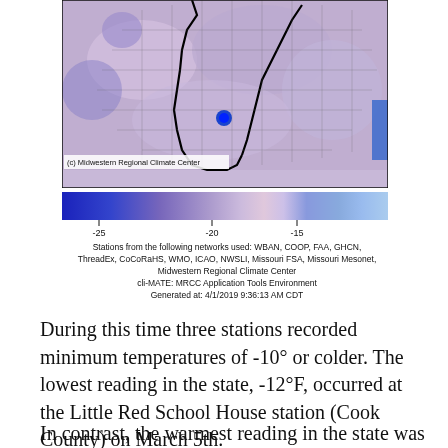[Figure (map): Temperature map of the Midwest US region showing minimum temperatures in shades of blue and purple. A bright blue spot appears near the center-south area. Black outlines show state and county boundaries. Caption: (c) Midwestern Regional Climate Center]
[Figure (infographic): Color scale bar ranging from dark blue on the left through lavender/pink in the middle to medium blue on the right, with tick labels -25, -20, -15]
Stations from the following networks used: WBAN, COOP, FAA, GHCN, ThreadEx, CoCoRaHS, WMO, ICAO, NWSLI, Missouri FSA, Missouri Mesonet, Midwestern Regional Climate Center cli-MATE: MRCC Application Tools Environment Generated at: 4/1/2019 9:36:13 AM CDT
During this time three stations recorded minimum temperatures of -10° or colder. The lowest reading in the state, -12°F, occurred at the Little Red School House station (Cook County) on March 5th.
In contrast, the warmest reading in the state was 76°F, reported at a station near Dixon Spring (Pope County) on